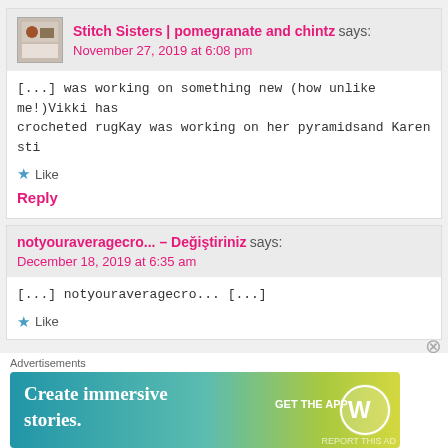Stitch Sisters | pomegranate and chintz says:
November 27, 2019 at 6:08 pm
[...] was working on something new (how unlike me!)Vikki has crocheted rugKay was working on her pyramidsand Karen sti
Like
Reply
notyouraveragecro... – Değiştiriniz says:
December 18, 2019 at 6:35 am
[...] notyouraveragecro... [...]
Like
Advertisements
[Figure (infographic): WordPress advertisement banner: 'Create immersive stories. GET THE APP' with WordPress logo on gradient blue-green-yellow background]